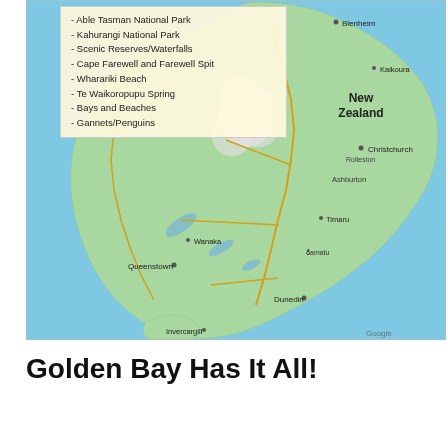[Figure (map): Map of New Zealand's South Island showing cities (Christchurch, Queenstown, Dunedin, Invercargill, Blenheim, Kaikoura, Ashburton, Timaru, Rolleston, Wanaka, Oamaru) and surrounding ocean, with green terrain and golden roads. A legend box in the upper-left lists Golden Bay attractions: Able Tasman National Park, Kahurangi National Park, Scenic Reserves/Waterfalls, Cape Farewell and Farewell Spit, Wharariki Beach, Te Waikoropupu Spring, Bays and Beaches, Gannets/Penguins.]
Golden Bay Has It All!